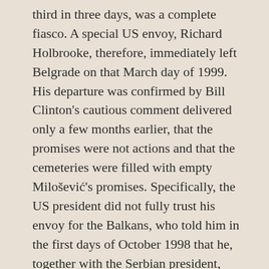third in three days, was a complete fiasco. A special US envoy, Richard Holbrooke, therefore, immediately left Belgrade on that March day of 1999. His departure was confirmed by Bill Clinton's cautious comment delivered only a few months earlier, that the promises were not actions and that the cemeteries were filled with empty Milošević's promises. Specifically, the US president did not fully trust his envoy for the Balkans, who told him in the first days of October 1998 that he, together with the Serbian president, reached an agreement that he could not achieve before. Milošević, Holbrooke reported, allegedly agreed to end the offensive in Kosovo, he withdrew most of the Serbian army and the secret police, allowed the arrival of